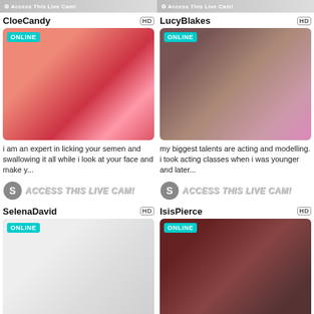[Figure (screenshot): Top strip banners showing 'Access This Live Cam!' for two cards at top]
CloeCandy
[Figure (photo): Photo of woman with red hair holding a large lollipop, pink background, ONLINE badge]
i am an expert in licking your semen and swallowing it all while i look at your face and make y...
LucyBlakes
[Figure (photo): Photo of woman in lingerie posing on bed, dark background, ONLINE badge]
my biggest talents are acting and modelling. i took acting classes when i was younger and later...
[Figure (infographic): ACCESS THIS LIVE CAM! banner with icon - left side]
[Figure (infographic): ACCESS THIS LIVE CAM! banner with icon - right side]
SelenaDavid
[Figure (photo): Photo of young blonde woman, light background, ONLINE badge]
IsisPierce
[Figure (photo): Photo of woman in dark bar/lounge setting, red atmosphere, ONLINE badge]